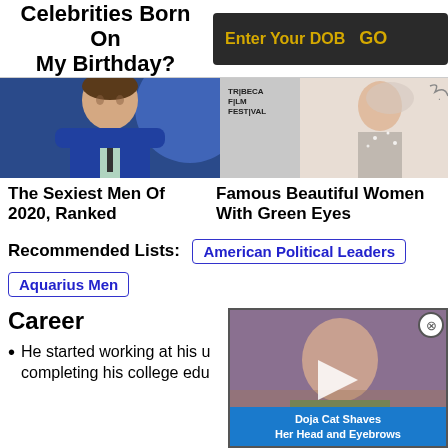Celebrities Born On My Birthday?
Enter Your DOB | GO
[Figure (photo): Photo of a man in a blue suit at what appears to be a premiere or event]
[Figure (photo): Photo of a woman at Tribeca Film Festival]
The Sexiest Men Of 2020, Ranked
Famous Beautiful Women With Green Eyes
Recommended Lists: American Political Leaders
Aquarius Men
Career
He started working at his u... completing his college edu...
[Figure (photo): Video overlay showing Doja Cat Shaves Her Head and Eyebrows]